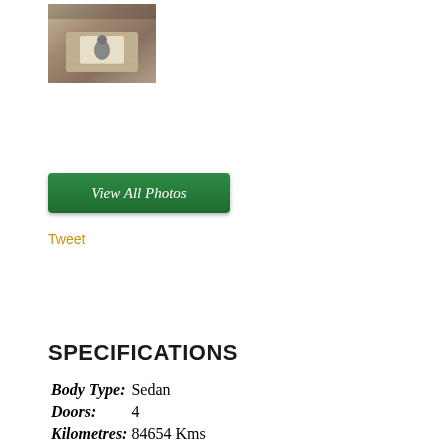[Figure (photo): Car interior photo showing gear shift area with beige/tan upholstery]
[Figure (other): Green 'View All Photos' button]
Tweet
SPECIFICATIONS
| Label | Value |
| --- | --- |
| Body Type: | Sedan |
| Doors: | 4 |
| Kilometres: | 84654 Kms |
| Engine: | ... |